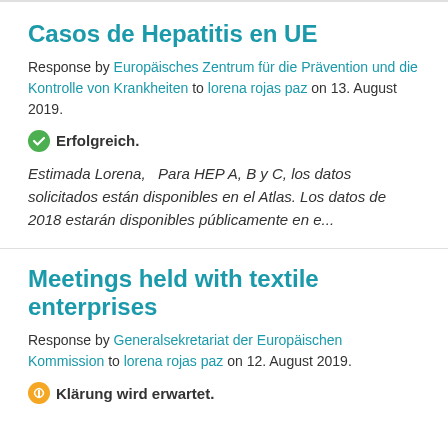Casos de Hepatitis en UE
Response by Europäisches Zentrum für die Prävention und die Kontrolle von Krankheiten to lorena rojas paz on 13. August 2019.
Erfolgreich.
Estimada Lorena,   Para HEP A, B y C, los datos solicitados están disponibles en el Atlas. Los datos de 2018 estarán disponibles públicamente en e...
Meetings held with textile enterprises
Response by Generalsekretariat der Europäischen Kommission to lorena rojas paz on 12. August 2019.
Klärung wird erwartet.